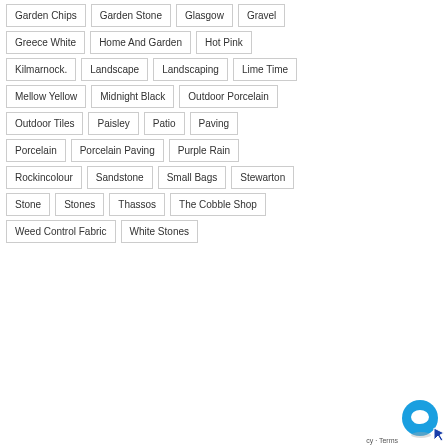Garden Chips
Garden Stone
Glasgow
Gravel
Greece White
Home And Garden
Hot Pink
Kilmarnock
Landscape
Landscaping
Lime Time
Mellow Yellow
Midnight Black
Outdoor Porcelain
Outdoor Tiles
Paisley
Patio
Paving
Porcelain
Porcelain Paving
Purple Rain
Rockincolour
Sandstone
Small Bags
Stewarton
Stone
Stones
Thassos
The Cobble Shop
Weed Control Fabric
White Stones
[Figure (illustration): Blue circular chat widget icon with cursor arrow in bottom right corner]